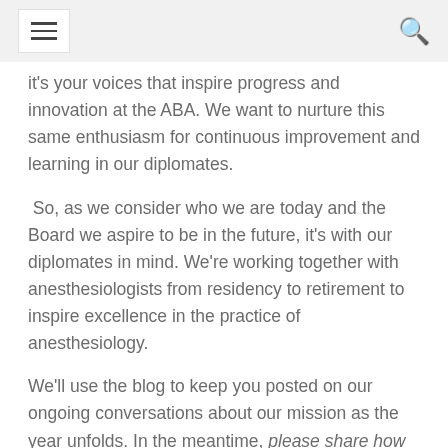[hamburger menu] [search icon]
it's your voices that inspire progress and innovation at the ABA. We want to nurture this same enthusiasm for continuous improvement and learning in our diplomates.
So, as we consider who we are today and the Board we aspire to be in the future, it's with our diplomates in mind. We're working together with anesthesiologists from residency to retirement to inspire excellence in the practice of anesthesiology.
We'll use the blog to keep you posted on our ongoing conversations about our mission as the year unfolds. In the meantime, please share how you believe our mission could